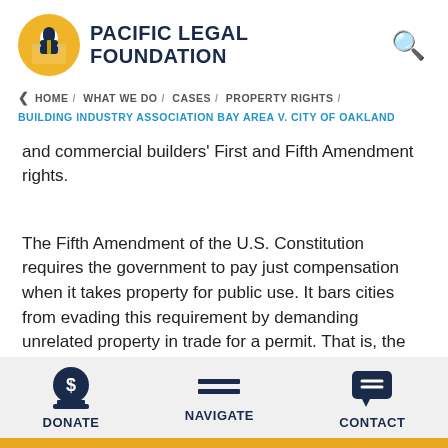PACIFIC LEGAL FOUNDATION
< HOME / WHAT WE DO / CASES / PROPERTY RIGHTS / BUILDING INDUSTRY ASSOCIATION BAY AREA V. CITY OF OAKLAND
and commercial builders' First and Fifth Amendment rights.
The Fifth Amendment of the U.S. Constitution requires the government to pay just compensation when it takes property for public use. It bars cities from evading this requirement by demanding unrelated property in trade for a permit. That is, the government cannot take property – including money
DONATE   NAVIGATE   CONTACT